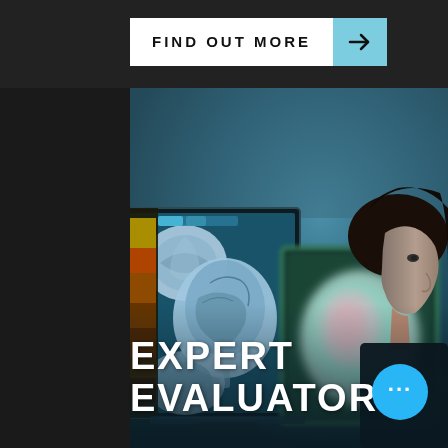[Figure (illustration): Button with text FIND OUT MORE and a cyan arrow on dark background bar at top]
[Figure (photo): Medical professional reviewing brain MRI and CT scan images on illuminated monitors in dark room. Multiple scan images visible on screens. Person viewed from side profile on right.]
EXPERT EVALUATORS
[Figure (illustration): Cyan circular button with three dots (more options button)]